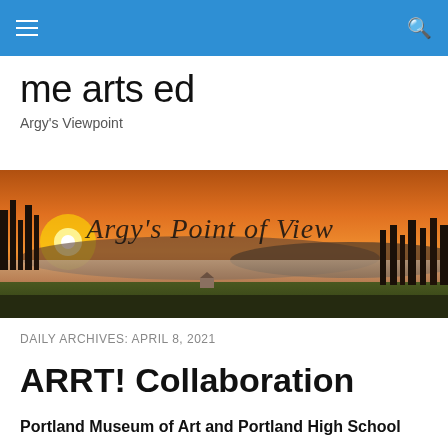me arts ed — navigation bar
me arts ed
Argy's Viewpoint
[Figure (photo): Banner photograph of a sunset over rolling hills and water with misty fog, with cursive text overlay reading 'Argy's Point of View']
DAILY ARCHIVES: APRIL 8, 2021
ARRT! Collaboration
Portland Museum of Art and Portland High School